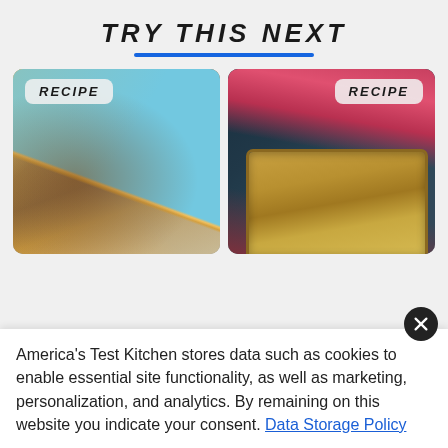TRY THIS NEXT
[Figure (photo): Two recipe card images side by side: left shows sliced bread loaf with colorful chevron cloth background, labeled RECIPE; right shows a baking pan with granular topping on dark background with red cloth, labeled RECIPE]
America's Test Kitchen stores data such as cookies to enable essential site functionality, as well as marketing, personalization, and analytics. By remaining on this website you indicate your consent. Data Storage Policy